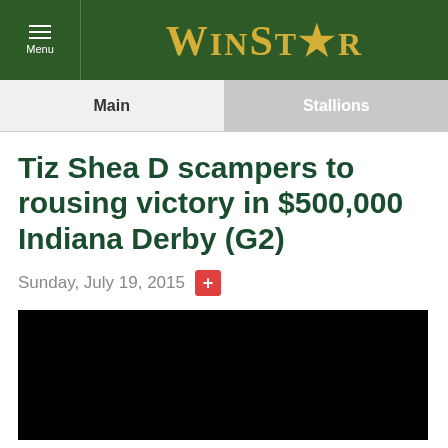Menu | WINSTAR
Main | Stallions
Tiz Shea D scampers to rousing victory in $500,000 Indiana Derby (G2)
Sunday, July 19, 2015
[Figure (photo): Black image area / video placeholder]